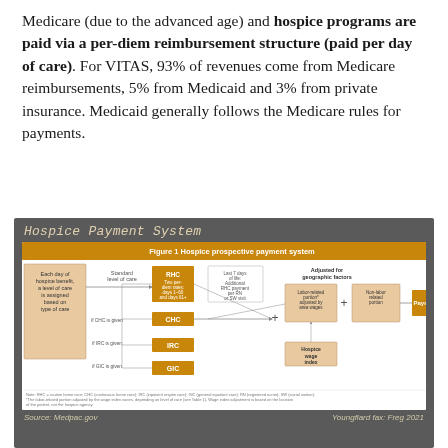Medicare (due to the advanced age) and hospice programs are paid via a per-diem reimbursement structure (paid per day of care). For VITAS, 93% of revenues come from Medicare reimbursements, 5% from Medicaid and 3% from private insurance. Medicaid generally follows the Medicare rules for payments.
[Figure (flowchart): Hospice Payment System diagram showing Figure 1: Hospice prospective payment system. Shows levels of care (RHC, CHC, IRC, GIC) assigned each day based on type of care, with two-tier per-diem rates for days 1-60 and 61+, last 7 days of life additional RHC payments at 80% or 54% rate, adjusted for geographic factors including labor-related and non-labor-related portions using Hospice wage index, leading to Payment.]
Hospice Payment System
Source: Medpac.gov | Youngflard fax: Freg 2021